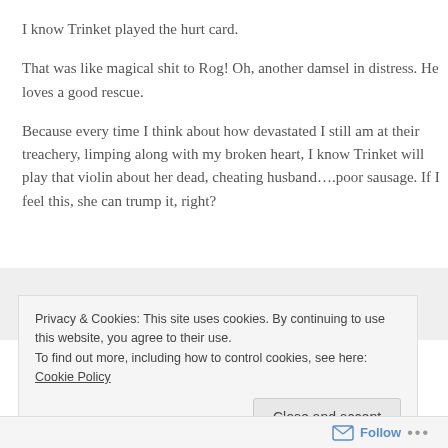I know Trinket played the hurt card.
That was like magical shit to Rog! Oh, another damsel in distress. He loves a good rescue.
Because every time I think about how devastated I still am at their treachery, limping along with my broken heart, I know Trinket will play that violin about her dead, cheating husband….poor sausage. If I feel this, she can trump it, right?
Privacy & Cookies: This site uses cookies. By continuing to use this website, you agree to their use.
To find out more, including how to control cookies, see here: Cookie Policy
Close and accept
Follow ...